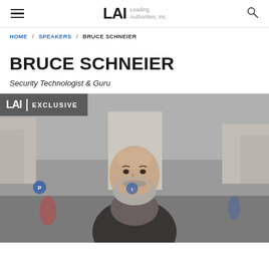LAI Leading Authorities, Inc.
HOME / SPEAKERS / BRUCE SCHNEIER
BRUCE SCHNEIER
Security Technologist & Guru
[Figure (photo): Photo of Bruce Schneier, a bald man with a grey beard, standing on a busy city street. An 'LAI | EXCLUSIVE' badge overlays the top-left corner of the image.]